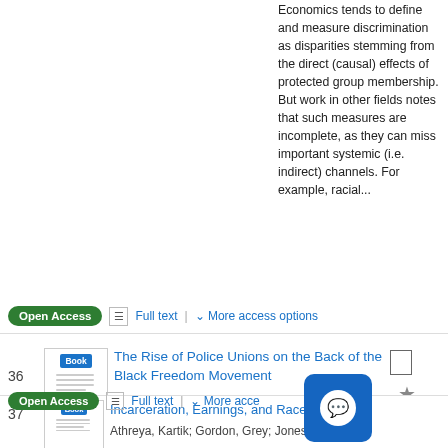Economics tends to define and measure discrimination as disparities stemming from the direct (causal) effects of protected group membership. But work in other fields notes that such measures are incomplete, as they can miss important systemic (i.e. indirect) channels. For example, racial...
Open Access   Full text  |  ∨ More access options
36  The Rise of Police Unions on the Back of the Black Freedom Movement
Hardaway, Ayesha - 2022
Police unions have garnered the attention of the media and some scholars in recent years. That attention has often focused on exploring the seemingly inexplicable power of police unions to shield problem officers from accountability as a matter of routine. This paper aims to explain that police...
Open Access   Full text  |  ∨ More acce
37  Incarceration, Earnings, and Race
Athreya, Kartik; Gordon, Grey; Jones, John